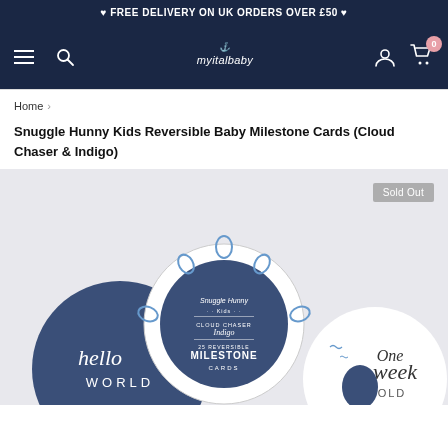❤ FREE DELIVERY ON UK ORDERS OVER £50 ❤
[Figure (screenshot): Navigation bar with hamburger menu, search icon, myitalbaby logo, user account icon, and cart icon with 0 badge]
Home >
Snuggle Hunny Kids Reversible Baby Milestone Cards (Cloud Chaser & Indigo)
[Figure (photo): Product photo showing reversible baby milestone cards including a 'hello world' card, a circular package with cloud and balloon design, and a 'one week old' card, with a 'Sold Out' badge in top right]